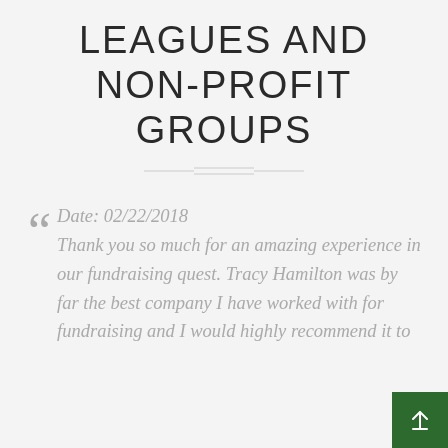LEAGUES AND NON-PROFIT GROUPS
Date: 02/22/2018 Thank you so much for an amazing experience in our fundraising quest. Tracy Hamilton was by far the best company I have worked with for fundraising and I would highly recommend it to